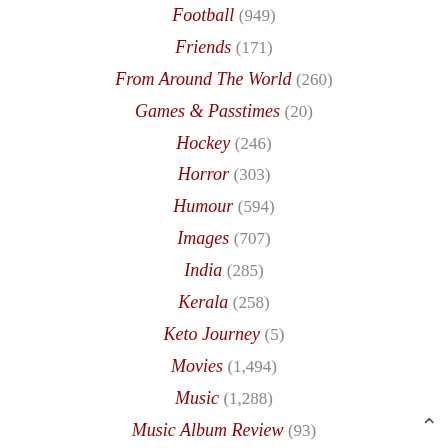Football (949)
Friends (171)
From Around The World (260)
Games & Passtimes (20)
Hockey (246)
Horror (303)
Humour (594)
Images (707)
India (285)
Kerala (258)
Keto Journey (5)
Movies (1,494)
Music (1,288)
Music Album Review (93)
Net Stuff (267)
Nostalgia (601)